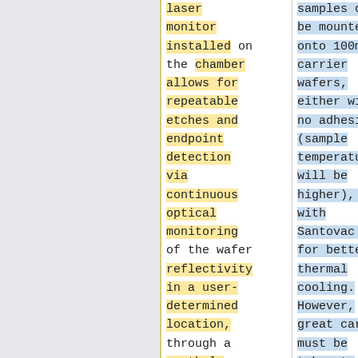laser monitor installed on the chamber allows for repeatable etches and endpoint detection via continuous optical monitoring of the wafer reflectivity in a user-determined location, through a porthole on the chamber.
samples can be mounted onto 100mm carrier wafers, either with no adhesive (sample temperature will be higher), or with Santovac oil for better thermal cooling. However, great care must be taken to ensure no oil,